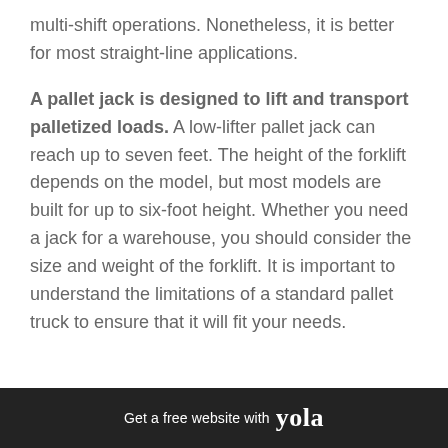multi-shift operations. Nonetheless, it is better for most straight-line applications.

A pallet jack is designed to lift and transport palletized loads. A low-lifter pallet jack can reach up to seven feet. The height of the forklift depends on the model, but most models are built for up to six-foot height. Whether you need a jack for a warehouse, you should consider the size and weight of the forklift. It is important to understand the limitations of a standard pallet truck to ensure that it will fit your needs.
Get a free website with yola